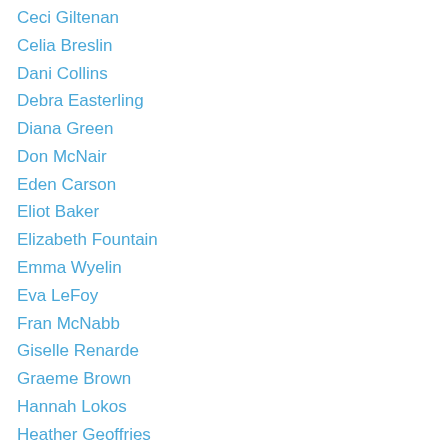Ceci Giltenan
Celia Breslin
Dani Collins
Debra Easterling
Diana Green
Don McNair
Eden Carson
Eliot Baker
Elizabeth Fountain
Emma Wyelin
Eva LeFoy
Fran McNabb
Giselle Renarde
Graeme Brown
Hannah Lokos
Heather Geoffries
J. A. Garland
Jamie Salisbury
Jane Toombs
January Bain